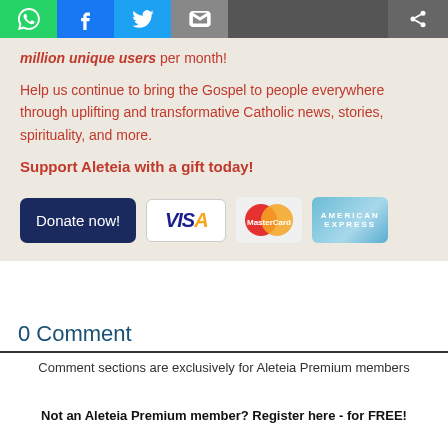[Figure (infographic): Social sharing toolbar with WhatsApp (green), Facebook (blue), Twitter (light blue), email (gray), and share icons on dark gray background]
million unique users per month!
Help us continue to bring the Gospel to people everywhere through uplifting and transformative Catholic news, stories, spirituality, and more.
Support Aleteia with a gift today!
[Figure (infographic): Donate now button and payment badges: Visa, MasterCard, American Express]
0 Comment
Comment sections are exclusively for Aleteia Premium members
Not an Aleteia Premium member? Register here - for FREE!